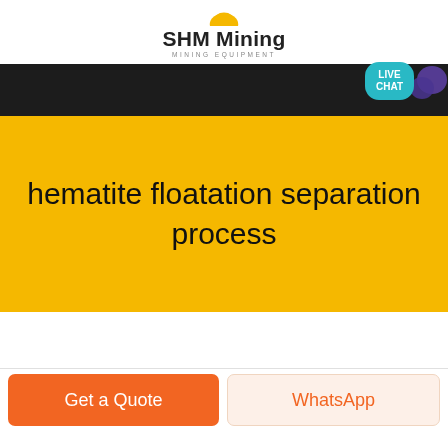SHM Mining MINING EQUIPMENT
[Figure (logo): SHM Mining logo with yellow half-circle icon, bold text 'SHM Mining' and subtitle 'MINING EQUIPMENT']
[Figure (screenshot): Dark navigation bar with 'LIVE CHAT' teal speech bubble button and purple chat icon in upper right corner]
hematite floatation separation process
Get a Quote
WhatsApp